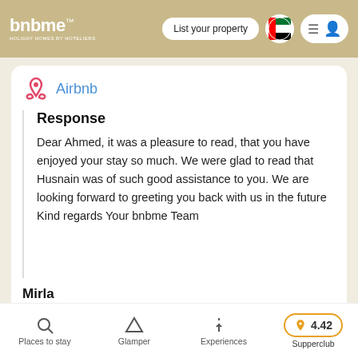bnbme HOLIDAY HOMES by HOTELIERS | List your property
[Figure (logo): Airbnb logo with pink icon and blue text]
Response
Dear Ahmed, it was a pleasure to read, that you have enjoyed your stay so much. We were glad to read that Husnain was of such good assistance to you. We are looking forward to greeting you back with us in the future Kind regards Your bnbme Team
Mirla
2B-GoldCrest-405
Places to stay | Glamper | Experiences | Supperclub 4.42